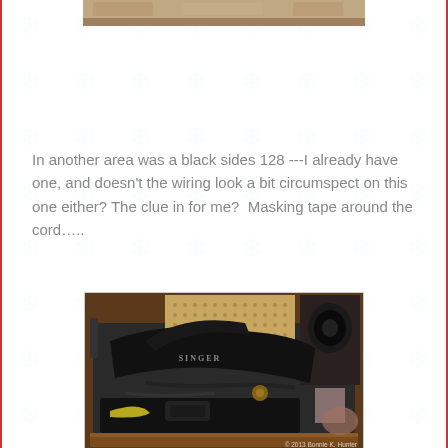[Figure (photo): Partial view of a photo at the top of the page, cropped — appears to show a warm-toned image]
In another area was a black sides 128 ---I already have one, and doesn't the wiring look a bit circumspect on this one either? The clue in for me?  Masking tape around the cord…..
[Figure (photo): A black Singer sewing machine model 128 sitting in a wooden case/cabinet, photographed from above at an angle. The machine is black with 'SINGER' text visible. Cords and attachments are visible. A watermark reads '© 2013 Bonnie K. Hunter' in the bottom right.]